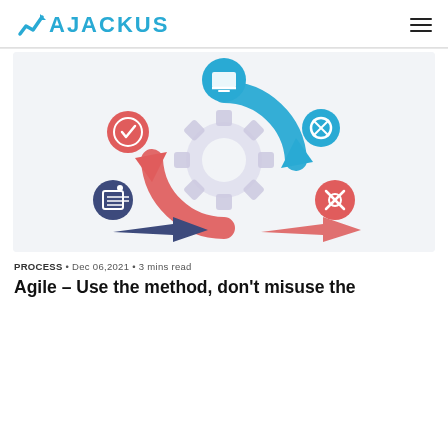AJACKUS
[Figure (illustration): Agile process cycle diagram with two circular arrows (blue and red) around a central gear icon, with surrounding icons: laptop/monitor (top), design tool (right), settings/tools (bottom right), clipboard/pencil (bottom left), badge/check (left). Two horizontal arrows at the bottom pointing right in dark blue and red/salmon.]
PROCESS • Dec 06,2021 • 3 mins read
Agile – Use the method, don't misuse the